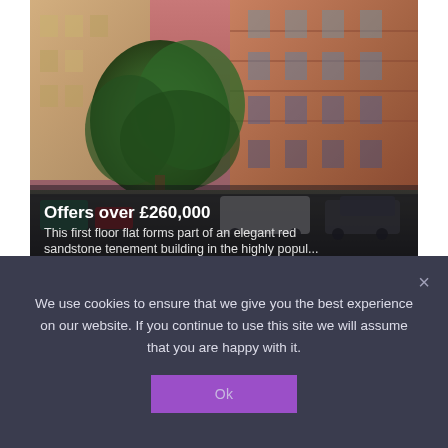[Figure (photo): Street-level photo of a red sandstone tenement building in Woodlands, Glasgow, with trees in foreground and cars parked on the street. Pink/dusky sky visible. Price overlay text reads 'Offers over £260,000' with description text beneath.]
Dunearn Street, Woodlands, Glasgow, G4 9ED
We use cookies to ensure that we give you the best experience on our website. If you continue to use this site we will assume that you are happy with it.
Ok